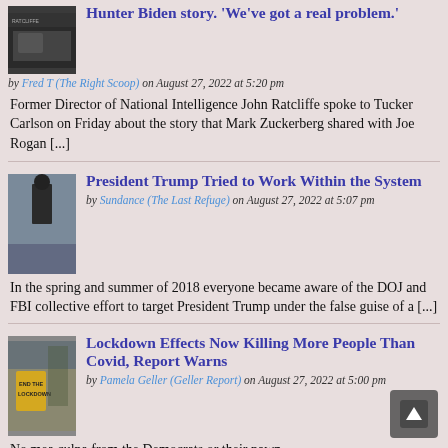Hunter Biden story. 'We've got a real problem.'
by Fred T (The Right Scoop) on August 27, 2022 at 5:20 pm
Former Director of National Intelligence John Ratcliffe spoke to Tucker Carlson on Friday about the story that Mark Zuckerberg shared with Joe Rogan [...]
President Trump Tried to Work Within the System
by Sundance (The Last Refuge) on August 27, 2022 at 5:07 pm
In the spring and summer of 2018 everyone became aware of the DOJ and FBI collective effort to target President Trump under the false guise of a [...]
Lockdown Effects Now Killing More People Than Covid, Report Warns
by Pamela Geller (Geller Report) on August 27, 2022 at 5:00 pm
No mea culpa from the Democrats or their pawn